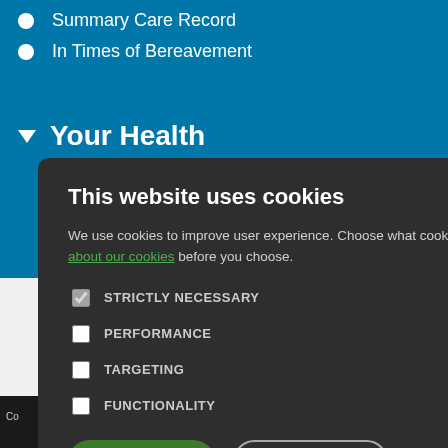Summary Care Record
In Times of Bereavement
▾ Your Health
[Figure (screenshot): Cookie consent modal dialog on a medical/NHS website with dark background. Contains title 'This website uses cookies', body text, checkboxes for STRICTLY NECESSARY, PERFORMANCE, TARGETING, FUNCTIONALITY, and buttons ACCEPT ALL and DECLINE ALL.]
MSW
Co... ocessing Policy | Edit |  Staff Home | Site Map | Accessibility | Site T&C's | Cookie Policy